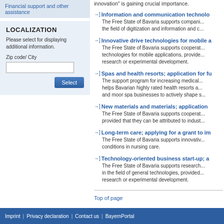Financial support and other assistance
LOCALIZATION
Please select for displaying additional information.
Zip code/ City
Select
innovation" is gaining crucial importance.
Information and communication technolo... The Free State of Bavaria supports compani... the field of digitization and information and c...
Innovative drive technologies for mobile a... The Free State of Bavaria supports cooperat... technologies for mobile applications, provide... research or experimental development.
Spas and health resorts; application for f... The support program for increasing medical... helps Bavarian highly rated health resorts a... and moor spa businesses to actively shape s...
New materials and materials; application... The Free State of Bavaria supports cooperat... provided that they can be attributed to indust...
Long-term care; applying for a grant to im... The Free State of Bavaria supports innovativ... conditions in nursing care.
Technology-oriented business start-up; a... The Free State of Bavaria supports research... in the field of general technologies, provided... research or experimental development.
Top of page
Imprint | Privacy declaration | Contact us | BayernPortal